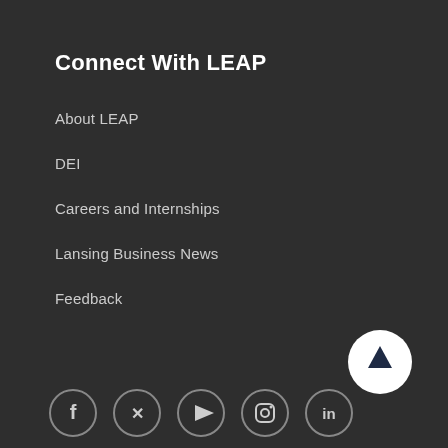Connect With LEAP
About LEAP
DEI
Careers and Internships
Lansing Business News
Feedback
[Figure (illustration): Circular button with upward arrow for scroll to top]
[Figure (illustration): Social media icons: Facebook, Twitter, YouTube, Instagram, LinkedIn in circular outlines]